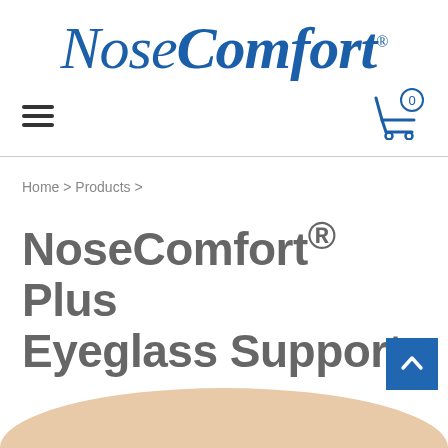[Figure (logo): NoseComfort logo in blue italic serif font with registered trademark symbol]
[Figure (infographic): Navigation bar with hamburger menu icon on left and shopping cart icon with 0 items badge on right]
Home > Products >
NoseComfort® Plus Eyeglass Support
[Figure (photo): Partial view of product - skin-toned curved shape visible at bottom of page]
[Figure (other): Blue back-to-top button with upward chevron arrow]